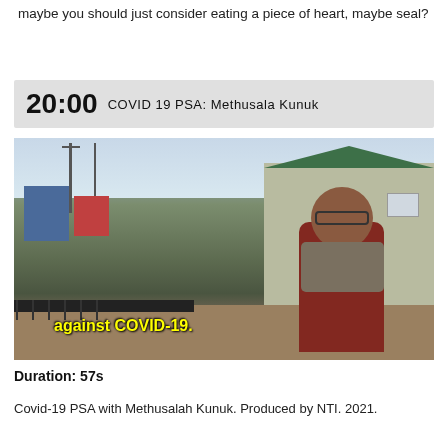maybe you should just consider eating a piece of heart, maybe seal?
[Figure (screenshot): Video timestamp bar showing '20:00 COVID 19 PSA: Methusala Kunuk' on a grey background]
[Figure (photo): Outdoor photo of an elderly man in a red and grey jacket standing in front of a building with a green roof in a northern community. Yellow subtitle text reads 'against COVID-19.']
Duration: 57s
Covid-19 PSA with Methusalah Kunuk.  Produced by NTI. 2021.